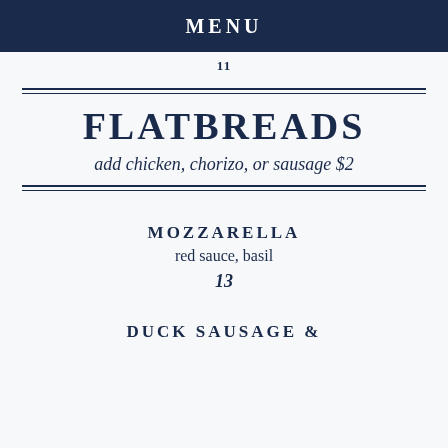MENU
11
FLATBREADS
add chicken, chorizo, or sausage $2
MOZZARELLA
red sauce, basil
13
DUCK SAUSAGE &